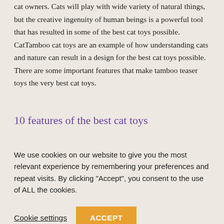cat owners. Cats will play with wide variety of natural things, but the creative ingenuity of human beings is a powerful tool that has resulted in some of the best cat toys possible. CatTamboo cat toys are an example of how understanding cats and nature can result in a design for the best cat toys possible. There are some important features that make tamboo teaser toys the very best cat toys.
10 features of the best cat toys
We use cookies on our website to give you the most relevant experience by remembering your preferences and repeat visits. By clicking "Accept", you consent to the use of ALL the cookies.